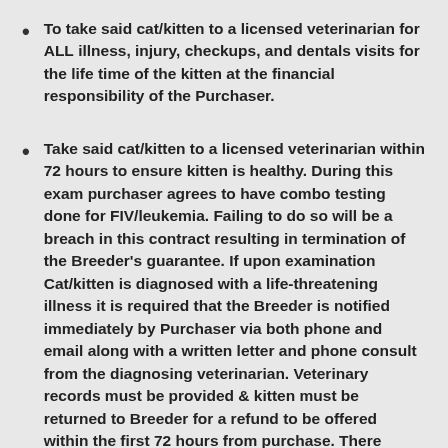To take said cat/kitten to a licensed veterinarian for ALL illness, injury, checkups, and dentals visits for the life time of the kitten at the financial responsibility of the Purchaser.
Take said cat/kitten to a licensed veterinarian within 72 hours to ensure kitten is healthy. During this exam purchaser agrees to have combo testing done for FIV/leukemia. Failing to do so will be a breach in this contract resulting in termination of the Breeder's guarantee. If upon examination Cat/kitten is diagnosed with a life-threatening illness it is required that the Breeder is notified immediately by Purchaser via both phone and email along with a written letter and phone consult from the diagnosing veterinarian. Veterinary records must be provided & kitten must be returned to Breeder for a refund to be offered within the first 72 hours from purchase. There